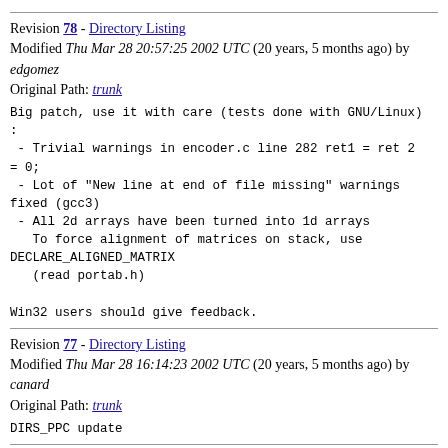Revision 78 - Directory Listing
Modified Thu Mar 28 20:57:25 2002 UTC (20 years, 5 months ago) by edgomez
Original Path: trunk
Big patch, use it with care (tests done with GNU/Linux):
 - Trivial warnings in encoder.c line 282 ret1 = ret 2 = 0;
 - Lot of "New line at end of file missing" warnings fixed (gcc3)
 - All 2d arrays have been turned into 1d arrays
    To force alignment of matrices on stack, use DECLARE_ALIGNED_MATRIX
    (read portab.h)

Win32 users should give feedback.
Revision 77 - Directory Listing
Modified Thu Mar 28 16:14:23 2002 UTC (20 years, 5 months ago) by canard
Original Path: trunk
DIRS_PPC update
Revision 76 - Directory Listing